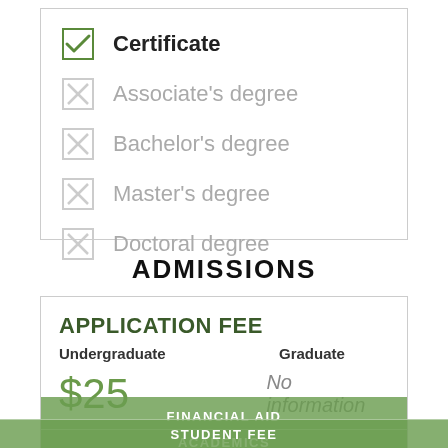Certificate (checked)
Associate's degree (unchecked)
Bachelor's degree (unchecked)
Master's degree (unchecked)
Doctoral degree (unchecked)
ADMISSIONS
APPLICATION FEE
Undergraduate
Graduate
$25
No information
FINANCIAL AID
ACADEMICS
ADMISSIONS
STUDENT FEE